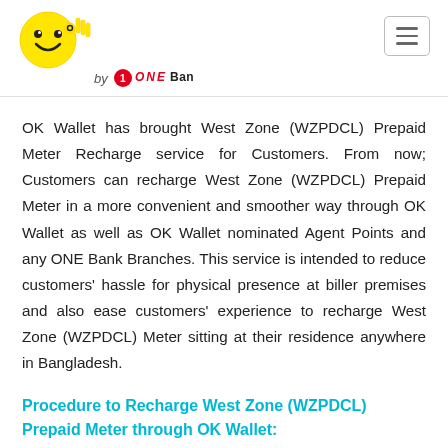[Figure (logo): OK Wallet by ONE Bank logo — yellow smiley face with OK hand gesture, bold 'wallet' text, 'by ONE Bank' subtitle]
OK Wallet has brought West Zone (WZPDCL) Prepaid Meter Recharge service for Customers. From now; Customers can recharge West Zone (WZPDCL) Prepaid Meter in a more convenient and smoother way through OK Wallet as well as OK Wallet nominated Agent Points and any ONE Bank Branches. This service is intended to reduce customers' hassle for physical presence at biller premises and also ease customers' experience to recharge West Zone (WZPDCL) Meter sitting at their residence anywhere in Bangladesh.
Procedure to Recharge West Zone (WZPDCL) Prepaid Meter through OK Wallet: